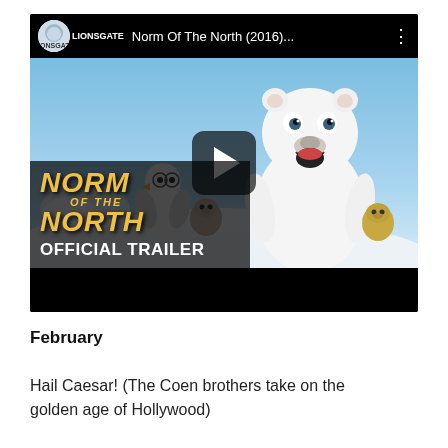[Figure (screenshot): YouTube video thumbnail for 'Norm Of The North (2016)...' showing an animated polar bear and other characters in a snowy arctic scene, with a play button overlay and the text 'NORM OF THE NORTH OFFICIAL TRAILER' overlaid in the lower left.]
February
Hail Caesar! (The Coen brothers take on the golden age of Hollywood)